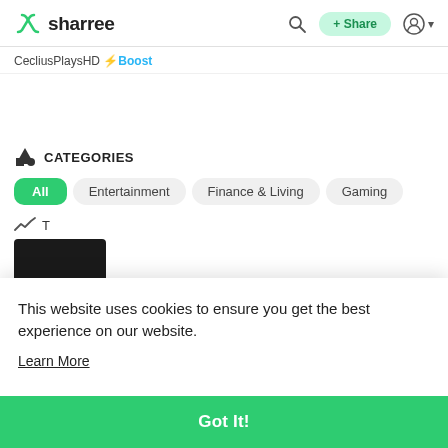sharree
CecliusPlaysHD ⚡Boost
CATEGORIES
All
Entertainment
Finance & Living
Gaming
This website uses cookies to ensure you get the best experience on our website.
Learn More
Got It!